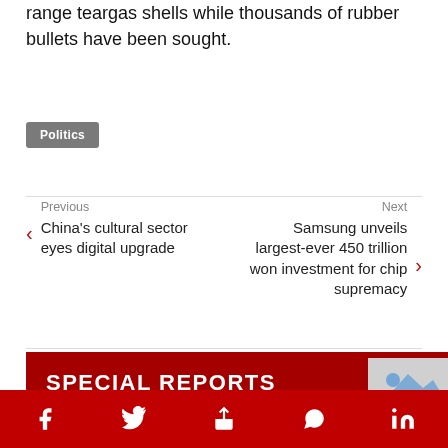The capital police have 25,000 long and short-range teargas shells while thousands of rubber bullets have been sought.
Politics
Previous
China's cultural sector eyes digital upgrade
Next
Samsung unveils largest-ever 450 trillion won investment for chip supremacy
SPECIAL REPORTS
Social share bar with Facebook, Twitter, Share, WhatsApp, LinkedIn icons